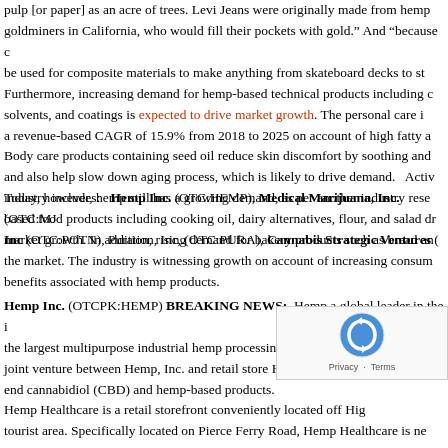pulp [for paper] as an acre of trees. Levi Jeans were originally made from hemp for goldminers in California, who would fill their pockets with gold.” And “because c be used for composite materials to make anything from skateboard decks to st Furthermore, increasing demand for hemp-based technical products including solvents, and coatings is expected to drive market growth. The personal care i a revenue-based CAGR of 15.9% from 2018 to 2025 on account of high fatty a Body care products containing seed oil reduce skin discomfort by soothing an and also help slow down aging process, which is likely to drive demand. Acti industry includes: Hemp Inc. (OTC:HEMP), Medical Marijuana, Inc. (OTC:MJ Inc (OTC:POTN), Puration, Inc, (OTC:PURA), Cannabis Strategic Ventures (
Today, however, hemp still has a growing demand, as per another industry res based food products including cooking oil, dairy alternatives, flour, and salad d market growth. In addition, rising demand for bakery products such as bread a the market. The industry is witnessing growth on account of increasing consum benefits associated with hemp products.
Hemp Inc. (OTCPK:HEMP) BREAKING NEWS: Hemp a global leader in the i the largest multipurpose industrial hemp processing facility in the western hem joint venture between Hemp, Inc. and retail store Hemp Healthcare, in Dolan S end cannabidiol (CBD) and hemp-based products.
Hemp Healthcare is a retail storefront conveniently located off Hig tourist area. Specifically located on Pierce Ferry Road, Hemp Healthcare is ne